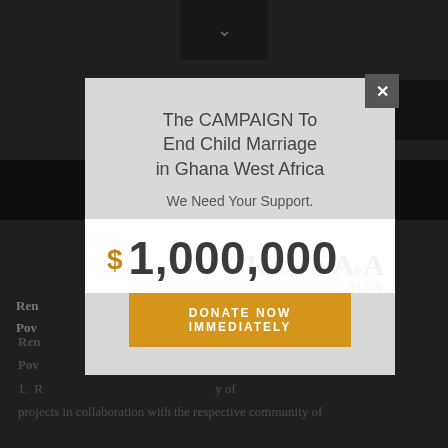[Figure (screenshot): Screenshot of a website with a modal popup overlay. The background shows a dark grey website page with a horizontal black navigation bar. A modal dialog box appears in the center-foreground with a light grey background.]
The CAMPAIGN To End Child Marriage in Ghana West Africa
We Need Your Support.
$ 1,000,000
DONATE NOW IMMEDIATELY
Renewing... reducing Poverty...
1. projects in collaboration with the respective community of